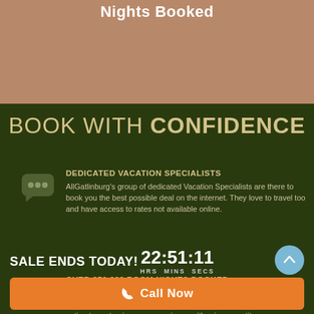Nights Booked
BOOK WITH CONFIDENCE
DEDICATED VACATION SPECIALISTS
AllGatlinburg's group of dedicated Vacation Specialists are there to book you the best possible deal on the internet. They love to travel too and have access to rates not available online.
OVER 350,000 ROOM NIGHTS BOOKED
Since 2004, AllGatlinburg.com has been a trusted leader in travel, having booked more than 100 properties at above and almost. Un booking through us gives you the option to customize your experience with price competitors.
SALE ENDS TODAY!
22:51:11 HRS MINS SECS
Call Now